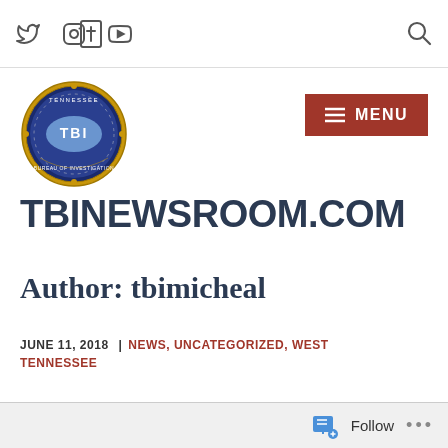Social icons (Twitter, Facebook, Instagram, YouTube) and search icon
[Figure (logo): Tennessee Bureau of Investigation (TBI) official seal/badge logo — circular badge with gold border, blue background, TBI text, map of Tennessee]
TBINEWSROOM.COM
Author: tbimicheal
JUNE 11, 2018  |  NEWS, UNCATEGORIZED, WEST TENNESSEE
Follow ...